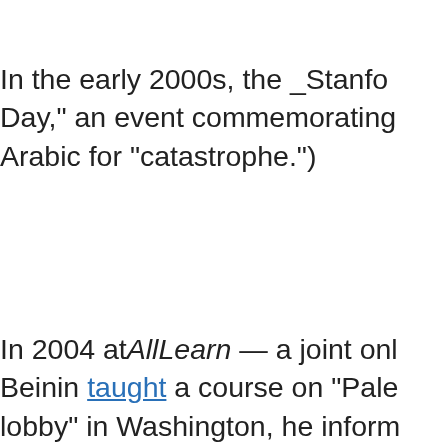In the early 2000s, the _Stanfo Day," an event commemorating Arabic for "catastrophe.")
In 2004 at AllLearn — a joint onl Beinin taught a course on "Pale lobby" in Washington, he inform government to adopt an "uncr recommended Egypt's state-ru Semitic conspiracy theories and praises suicide bombings._Al-Ah France for publishing a piece ch children's blood.Also in the earl